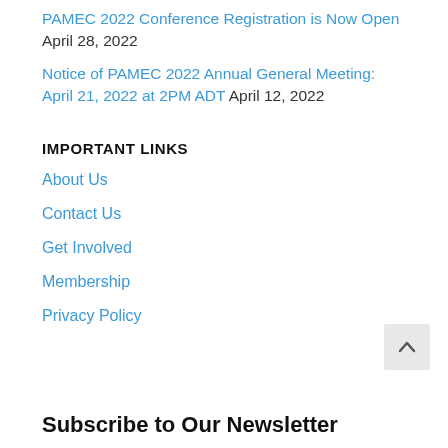PAMEC 2022 Conference Registration is Now Open April 28, 2022
Notice of PAMEC 2022 Annual General Meeting: April 21, 2022 at 2PM ADT April 12, 2022
IMPORTANT LINKS
About Us
Contact Us
Get Involved
Membership
Privacy Policy
Subscribe to Our Newsletter